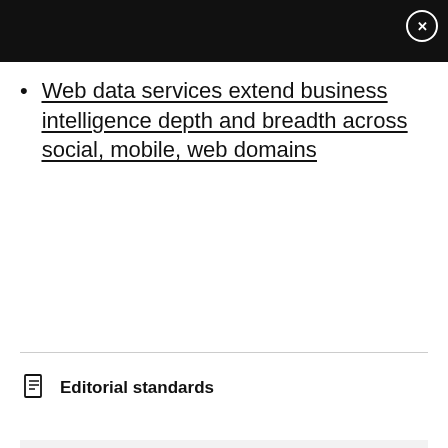Web data services extend business intelligence depth and breadth across social, mobile, web domains
Editorial standards
show comments